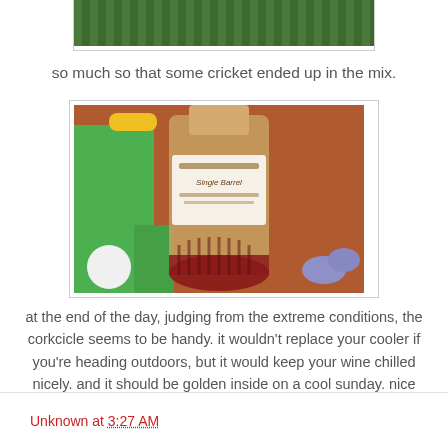[Figure (photo): Top portion of a photo showing green grass/turf field]
so much so that some cricket ended up in the mix.
[Figure (photo): Photo of a whisky bottle (Single barrel) being held upside down in a bright green corkcicle/cooler holder, with a person's blue fingernails visible, reddish-brown pavement background]
at the end of the day, judging from the extreme conditions, the corkcicle seems to be handy. it wouldn't replace your cooler if you're heading outdoors, but it would keep your wine chilled nicely. and it should be golden inside on a cool sunday. nice find.
Unknown at 3:27 AM